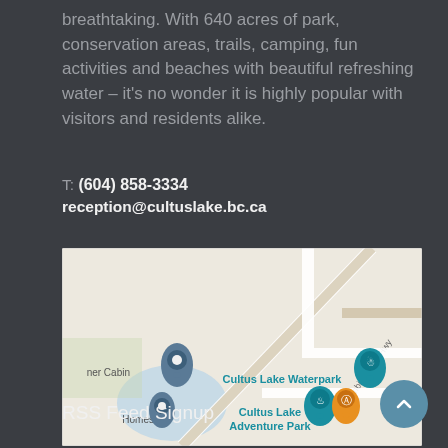breathtaking. With 640 acres of park, conservation areas, trails, camping, fun activities and beaches with beautiful refreshing water – it's no wonder it is highly popular with visitors and residents alike.
T: (604) 858-3334
reception@cultuslake.bc.ca
[Figure (map): Google Maps screenshot showing Cultus Lake Waterpark and Cultus Lake Adventure Park location markers, with Columbia Valley Hwy visible and nearby landmarks including 'ner Cabin' and 'Homes'.]
RSS Feed Signup